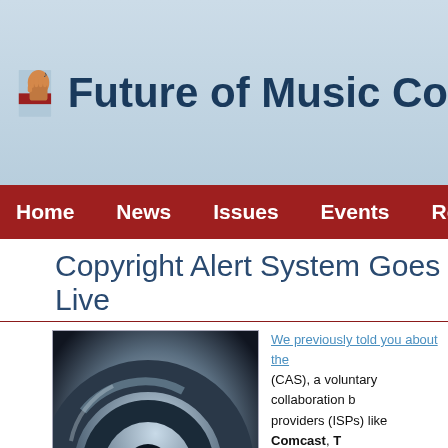Future of Music Co
Home   News   Issues   Events   Research
Copyright Alert System Goes Live
[Figure (photo): Close-up photo of headphones, dark blue-grey tones with circular metallic elements]
We previously told you about the (CAS), a voluntary collaboration b providers (ISPs) like Comcast, Th copyright owners in the music an
The CAS is meant to address pira alerts sent to internet users suspe unauthorized music and whatnot. rumors that Monday, Feb. 25 (tod now been confirmed by the Cente (CCI), the organization tasked wit
There still isn't a lot of informatio assume that the CAS will include m as well as some punitive measures including slowed internet speeds for re